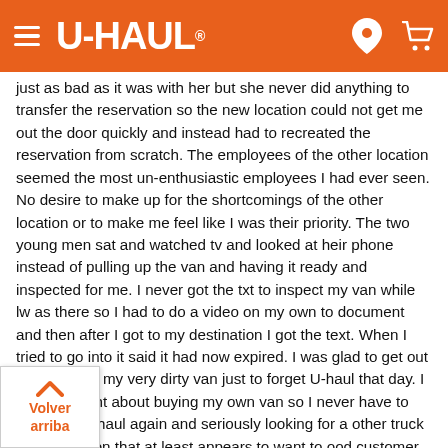U-HAUL
just as bad as it was with her but she never did anything to transfer the reservation so the new location could not get me out the door quickly and instead had to recreated the reservation from scratch. The employees of the other location seemed the most un-enthusiastic employees I had ever seen. No desire to make up for the shortcomings of the other location or to make me feel like I was their priority. The two young men sat and watched tv and looked at heir phone instead of pulling up the van and having it ready and inspected for me. I never got the txt to inspect my van while lw as there so I had to do a video on my own to document and then after I got to my destination I got the text. When I tried to go into it said it had now expired. I was glad to get out of there with my very dirty van just to forget U-haul that day. I really thought about buying my own van so I never have to rent from U-haul again and seriously looking for a other truck rental location that at least appears to want to good customer service for next time I need to rent. Why don't the locations work to ensure they have the vehicles available that have been reserved. What is the point of a reservation if you can't